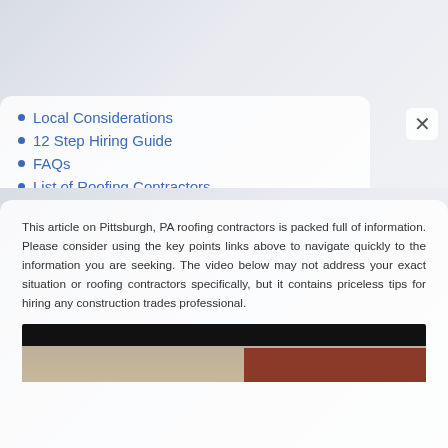Local Considerations
12 Step Hiring Guide
FAQs
List of Roofing Contractors
This article on Pittsburgh, PA roofing contractors is packed full of information. Please consider using the key points links above to navigate quickly to the information you are seeking. The video below may not address your exact situation or roofing contractors specifically, but it contains priceless tips for hiring any construction trades professional.
[Figure (photo): Video screenshot showing a man standing in front of a brick house, with a dark header bar at the top of the video player.]